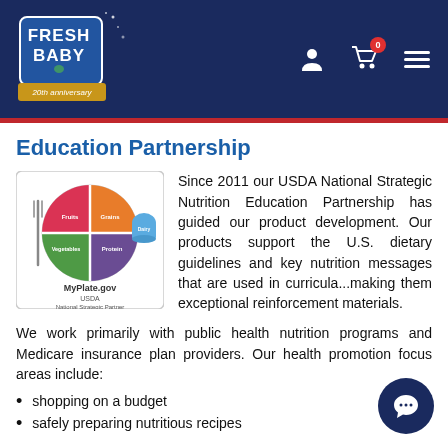[Figure (logo): Fresh Baby 20th anniversary logo in dark navy header with person icon, cart with 0 badge, and hamburger menu]
Education Partnership
[Figure (illustration): MyPlate.gov USDA National Strategic Partner logo showing a plate divided into four colored sections (fruits, grains, vegetables, protein) with a dairy cup, fork on left, and text MyPlate.gov / USDA National Strategic Partner]
Since 2011 our USDA National Strategic Nutrition Education Partnership has guided our product development. Our products support the U.S. dietary guidelines and key nutrition messages that are used in curricula...making them exceptional reinforcement materials.
We work primarily with public health nutrition programs and Medicare insurance plan providers. Our health promotion focus areas include:
shopping on a budget
safely preparing nutritious recipes